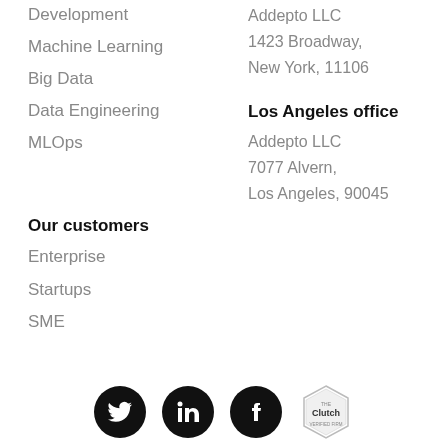Development
Machine Learning
Big Data
Data Engineering
MLOps
Addepto LLC
1423 Broadway,
New York, 11106
Los Angeles office
Addepto LLC
7077 Alvern,
Los Angeles, 90045
Our customers
Enterprise
Startups
SME
[Figure (logo): Social media icons row: Twitter, LinkedIn, Facebook (black circles with white icons), and Clutch badge (hexagonal gray badge)]